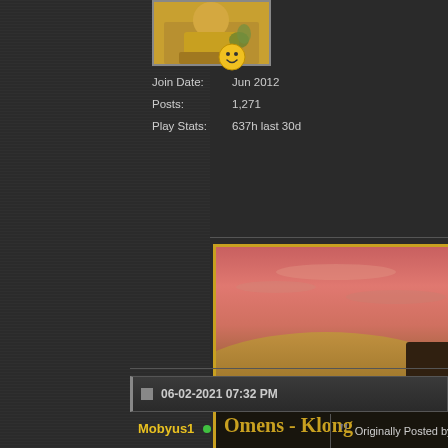[Figure (photo): User avatar image showing a character in yellow/gold robes or clothing]
Join Date:	Jun 2012
Posts:	1,271
Play Stats:	637h last 30d
[Figure (illustration): Smiley face emoji icon]
[Figure (screenshot): Game screenshot showing desert landscape at sunset/dusk with pink-red sky and sandy hills. Text overlay reads 'Omens - Klong']
Paintings Guide - POI Badge G 6pmUTC.
06-02-2021 07:32 PM
Mobyus1
Originally Posted by O